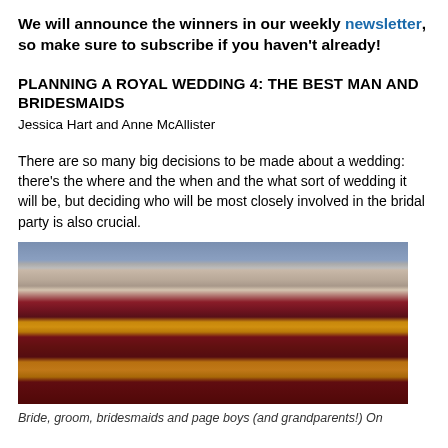We will announce the winners in our weekly newsletter, so make sure to subscribe if you haven't already!
PLANNING A ROYAL WEDDING 4: THE BEST MAN AND BRIDESMAIDS
Jessica Hart and Anne McAllister
There are so many big decisions to be made about a wedding: there's the where and the when and the what sort of wedding it will be, but deciding who will be most closely involved in the bridal party is also crucial.
[Figure (photo): A group of people including the bride, groom, bridesmaids and page boys standing on a balcony (likely Buckingham Palace) with red and gold bunting draped below.]
Bride, groom, bridesmaids and page boys (and grandparents!) On